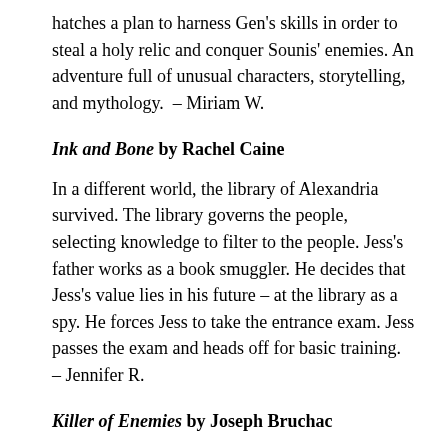hatches a plan to harness Gen's skills in order to steal a holy relic and conquer Sounis' enemies. An adventure full of unusual characters, storytelling, and mythology.  – Miriam W.
Ink and Bone by Rachel Caine
In a different world, the library of Alexandria survived. The library governs the people, selecting knowledge to filter to the people. Jess's father works as a book smuggler. He decides that Jess's value lies in his future – at the library as a spy. He forces Jess to take the entrance exam. Jess passes the exam and heads off for basic training.  – Jennifer R.
Killer of Enemies by Joseph Bruchac
Lozen grew up in a divided world—there were the Ones, whose genetic and technological